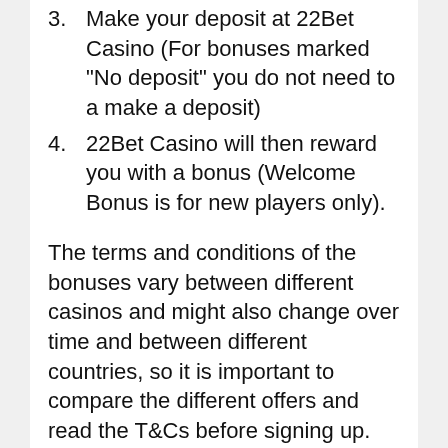3. Make your deposit at 22Bet Casino (For bonuses marked "No deposit" you do not need to a make a deposit)
4. 22Bet Casino will then reward you with a bonus (Welcome Bonus is for new players only).
The terms and conditions of the bonuses vary between different casinos and might also change over time and between different countries, so it is important to compare the different offers and read the T&Cs before signing up.
You are only allowed to participate if you are at least eighteen (18) years old or of legal age as determined by the laws of the country where You live (whichever is higher); in this respect, the company wishes to draw your attention to the fact